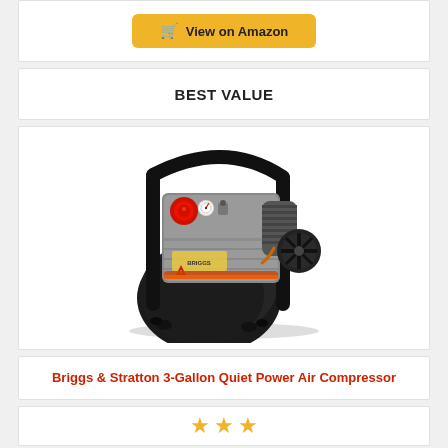[Figure (other): Yellow 'View on Amazon' button with shopping cart icon on a white card background]
BEST VALUE
[Figure (photo): Briggs & Stratton 3-Gallon Quiet Power Air Compressor product photo showing a compact black air compressor with silver motor, red pressure knob, and curved black carry handle]
Briggs & Stratton 3-Gallon Quiet Power Air Compressor
[Figure (other): Three gold/orange star rating icons]